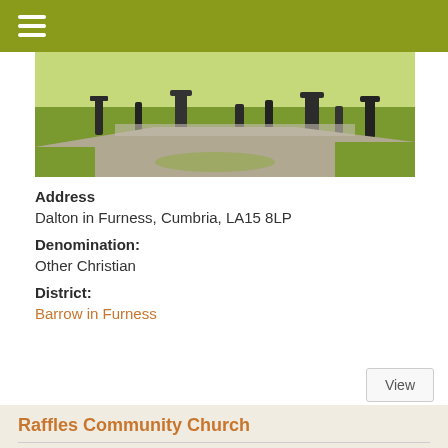[Figure (photo): Outdoor cemetery or graveyard with green grass, dark tombstones, and bright daylight sky]
Address
Dalton in Furness, Cumbria, LA15 8LP
Denomination:
Other Christian
District:
Barrow in Furness
View
Raffles Community Church
[Figure (photo): Sky with clouds and partial view of a building or church at bottom]